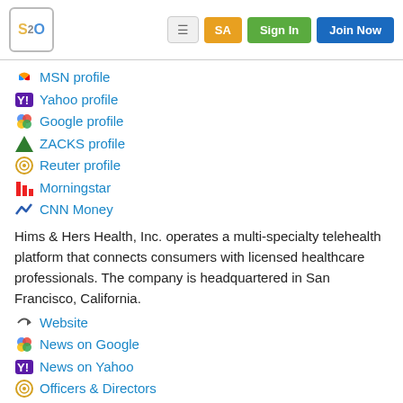[Figure (screenshot): Website header with S2O logo, hamburger menu button, SA button (orange), Sign In button (green), Join Now button (blue)]
MSN profile
Yahoo profile
Google profile
ZACKS profile
Reuter profile
Morningstar
CNN Money
Hims & Hers Health, Inc. operates a multi-specialty telehealth platform that connects consumers with licensed healthcare professionals. The company is headquartered in San Francisco, California.
Website
News on Google
News on Yahoo
Officers & Directors
Headlines
Major Holders
Insider Trading